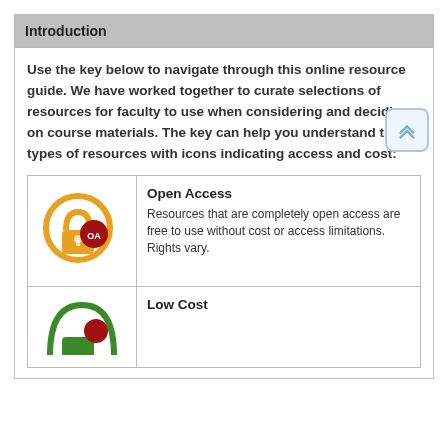Introduction
Use the key below to navigate through this online resource guide. We have worked together to curate selections of resources for faculty to use when considering and deciding on course materials. The key can help you understand the types of resources with icons indicating access and cost:
[Figure (illustration): Open Access icon: an orange padlock with OA badge in red circle]
Open Access
Resources that are completely open access are free to use without cost or access limitations. Rights vary.
[Figure (illustration): Low Cost icon: a green padlock partially visible]
Low Cost